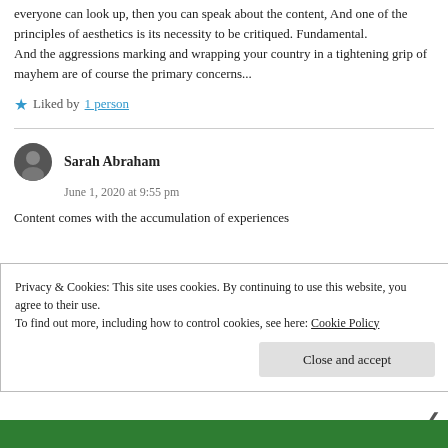everyone can look up, then you can speak about the content, And one of the principles of aesthetics is its necessity to be critiqued. Fundamental.
And the aggressions marking and wrapping your country in a tightening grip of mayhem are of course the primary concerns...
★ Liked by 1 person
Sarah Abraham
June 1, 2020 at 9:55 pm
Content comes with the accumulation of experiences
Privacy & Cookies: This site uses cookies. By continuing to use this website, you agree to their use.
To find out more, including how to control cookies, see here: Cookie Policy
Close and accept